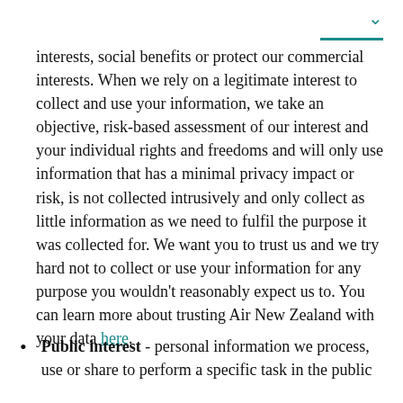interests, social benefits or protect our commercial interests. When we rely on a legitimate interest to collect and use your information, we take an objective, risk-based assessment of our interest and your individual rights and freedoms and will only use information that has a minimal privacy impact or risk, is not collected intrusively and only collect as little information as we need to fulfil the purpose it was collected for. We want you to trust us and we try hard not to collect or use your information for any purpose you wouldn't reasonably expect us to. You can learn more about trusting Air New Zealand with your data here.
Public interest - personal information we process, use or share to perform a specific task in the public interest that the government or official authority...